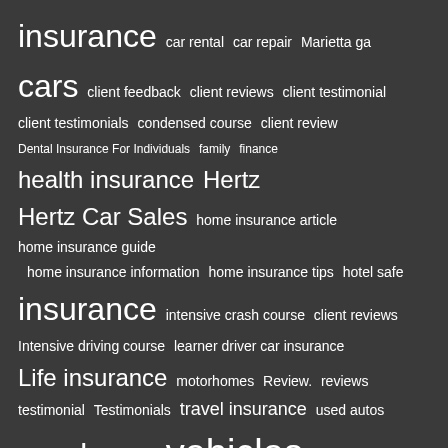insurance car rental car repair Marietta ga cars client feedback client reviews client testimonial client testimonials condensed course client review Dental Insurance For Individuals family finance health insurance Hertz Hertz Car Sales home insurance article home insurance guide home insurance information home insurance tips hotel safe insurance intensive crash course client reviews Intensive driving course learner driver car insurance Life insurance motorhomes Review. reviews testimonial Testimonials travel insurance used autos used cars vehicles whole life insurance quotes
[Figure (infographic): Social media icons: Twitter bird, Facebook f, Pinterest p, Vimeo V]
©2022 | Powered by Responsive Theme